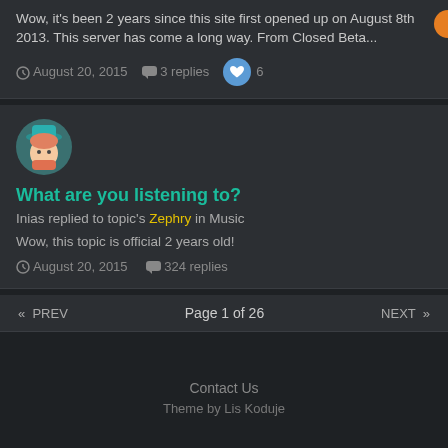Wow, it's been 2 years since this site first opened up on August 8th 2013. This server has come a long way. From Closed Beta...
August 20, 2015   3 replies   6
[Figure (illustration): Circular avatar of an anime character with teal/blue hat]
What are you listening to?
Inias replied to topic's Zephry in Music
Wow, this topic is official 2 years old!
August 20, 2015   324 replies
« PREV   Page 1 of 26   NEXT »
Contact Us
Theme by Lis Koduje